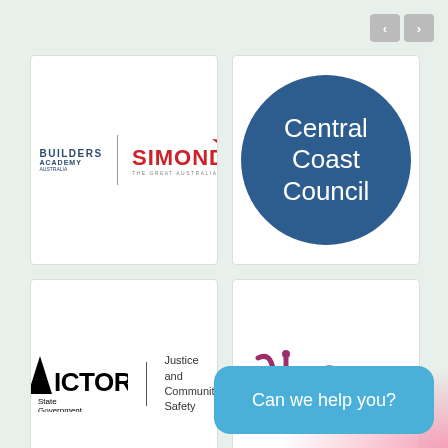[Figure (logo): Navigation arrows (previous/next) buttons, gray, top right]
[Figure (logo): Builders Academy Australia and Simonds - The Great Australian Builder logos side by side]
[Figure (logo): Central Coast Council logo - white text on dark blue circle]
[Figure (logo): Victoria State Government Justice and Community Safety logo]
[Figure (logo): Suzan Johnston logo with stylized SJ monogram in mauve]
Can we help you?